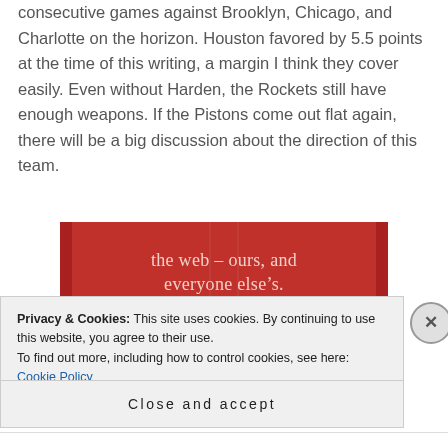consecutive games against Brooklyn, Chicago, and Charlotte on the horizon. Houston favored by 5.5 points at the time of this writing, a margin I think they cover easily. Even without Harden, the Rockets still have enough weapons. If the Pistons come out flat again, there will be a big discussion about the direction of this team.
[Figure (other): Red advertisement banner with white serif text reading 'the web – ours, and everyone else's.' and a dark 'Start reading' button]
Privacy & Cookies: This site uses cookies. By continuing to use this website, you agree to their use.
To find out more, including how to control cookies, see here: Cookie Policy
Close and accept